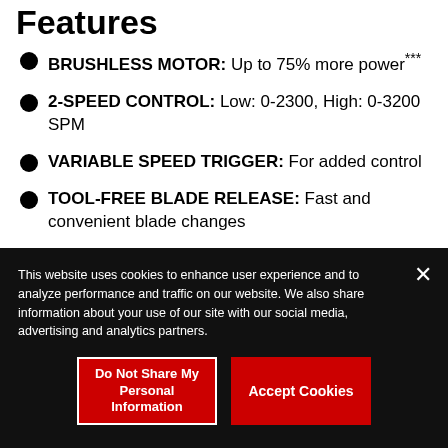Features
BRUSHLESS MOTOR: Up to 75% more power***
2-SPEED CONTROL: Low: 0-2300, High: 0-3200 SPM
VARIABLE SPEED TRIGGER: For added control
TOOL-FREE BLADE RELEASE: Fast and convenient blade changes
This website uses cookies to enhance user experience and to analyze performance and traffic on our website. We also share information about your use of our site with our social media, advertising and analytics partners.
Do Not Share My Personal Information
Accept Cookies